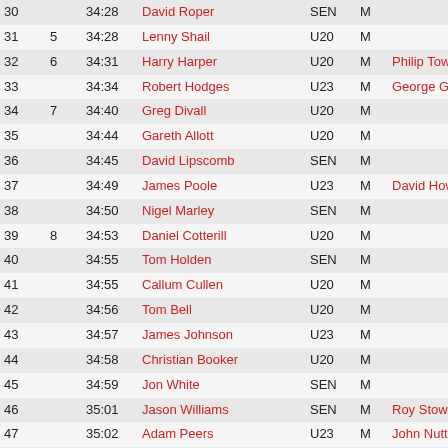| Pos | Cat | Time | Name | Age | Sex | Coach/Note |
| --- | --- | --- | --- | --- | --- | --- |
| 30 |  | 34:28 | David Roper | SEN | M |  |
| 31 | 5 | 34:28 | Lenny Shail | U20 | M |  |
| 32 | 6 | 34:31 | Harry Harper | U20 | M | Philip Townsend |
| 33 |  | 34:34 | Robert Hodges | U23 | M | George Gandy |
| 34 | 7 | 34:40 | Greg Divall | U20 | M |  |
| 35 |  | 34:44 | Gareth Allott | U20 | M |  |
| 36 |  | 34:45 | David Lipscomb | SEN | M |  |
| 37 |  | 34:49 | James Poole | U23 | M | David Howe |
| 38 |  | 34:50 | Nigel Marley | SEN | M |  |
| 39 | 8 | 34:53 | Daniel Cotterill | U20 | M |  |
| 40 |  | 34:55 | Tom Holden | SEN | M |  |
| 41 |  | 34:55 | Callum Cullen | U20 | M |  |
| 42 |  | 34:56 | Tom Bell | U20 | M |  |
| 43 |  | 34:57 | James Johnson | U23 | M |  |
| 44 |  | 34:58 | Christian Booker | U20 | M |  |
| 45 |  | 34:59 | Jon White | SEN | M |  |
| 46 |  | 35:01 | Jason Williams | SEN | M | Roy Stowell |
| 47 |  | 35:02 | Adam Peers | U23 | M | John Nuttall |
| 48 |  | 35:07 | John Gercs | V35 | M |  |
| 49 |  | 35:09 | Marc Hartley | U23 | M | John Danahay |
| 50 |  | 35:11 | Harvey Speed | U23 | M |  |
| 51 |  | 35:13 | Dave Kesterton | V40 | M |  |
| 52 |  | 35:14 | Daniel Reiss | SEN | M |  |